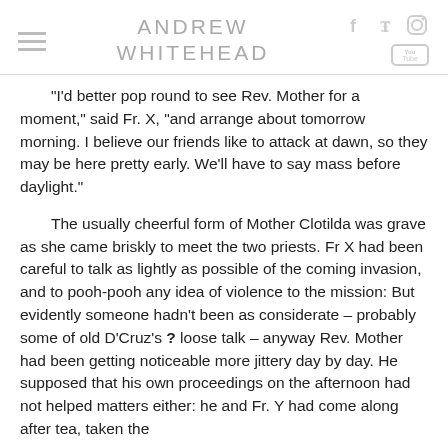ANDREW WHITEHEAD
“I’d better pop round to see Rev. Mother for a moment,” said Fr. X, “and arrange about tomorrow morning. I believe our friends like to attack at dawn, so they may be here pretty early. We’ll have to say mass before daylight.”
The usually cheerful form of Mother Clotilda was grave as she came briskly to meet the two priests. Fr X had been careful to talk as lightly as possible of the coming invasion, and to pooh-pooh any idea of violence to the mission: But evidently someone hadn’t been as considerate – probably some of old D’Cruz’s ? loose talk – anyway Rev. Mother had been getting noticeable more jittery day by day. He supposed that his own proceedings on the afternoon had not helped matters either: he and Fr. Y had come along after tea, taken the